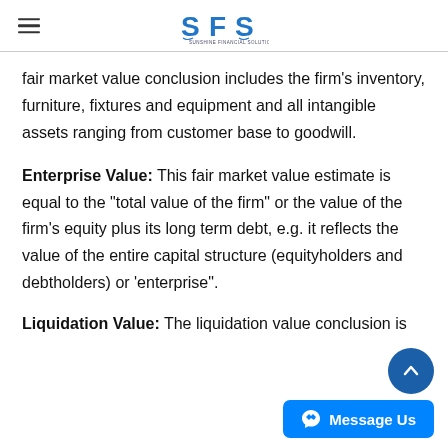SFS — Sunshine Financial Solutions
fair market value conclusion includes the firm's inventory, furniture, fixtures and equipment and all intangible assets ranging from customer base to goodwill.
Enterprise Value: This fair market value estimate is equal to the "total value of the firm" or the value of the firm's equity plus its long term debt, e.g. it reflects the value of the entire capital structure (equityholders and debtholders) or 'enterprise".
Liquidation Value: The liquidation value conclusion is